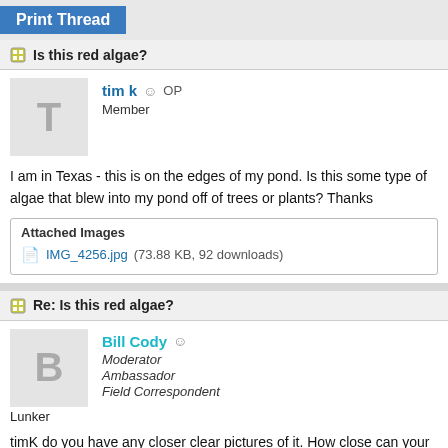Print Thread
Is this red algae?
tim k  OP
Member
I am in Texas - this is on the edges of my pond. Is this some type of algae that blew into my pond off of trees or plants? Thanks
Attached Images
IMG_4256.jpg (73.88 KB, 92 downloads)
Re: Is this red algae?
Bill Cody
Moderator
Ambassador
Field Correspondent
Lunker
timK do you have any closer clear pictures of it. How close can your ca